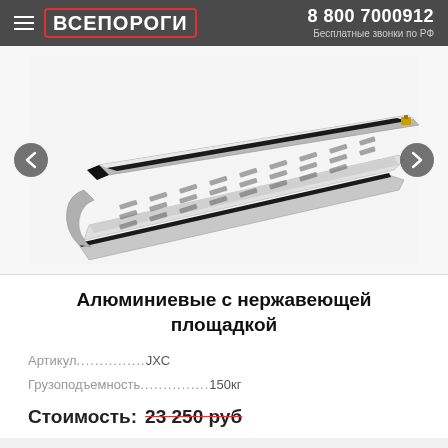ВСЕПОРОГИ | 8 800 7000912 Бесплатные звонки по РФ
[Figure (photo): Product photo of aluminium running board/side step with stainless steel platform, shown on white background with navigation arrows on both sides]
Алюминиевые с нержавеющей площадкой
Артикул..............JXC
Грузоподъемность..............150кг
Стоимость: 23 250 руб (crossed out)